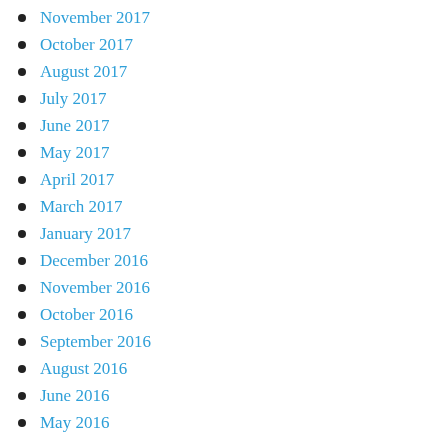November 2017
October 2017
August 2017
July 2017
June 2017
May 2017
April 2017
March 2017
January 2017
December 2016
November 2016
October 2016
September 2016
August 2016
June 2016
May 2016